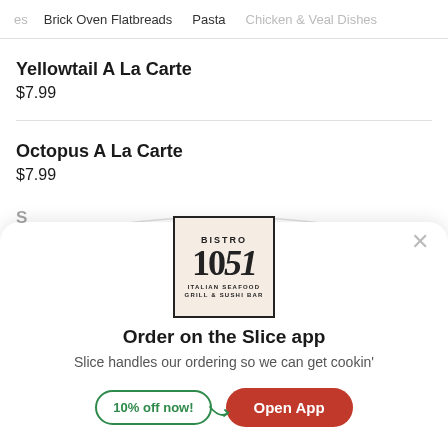...es   Brick Oven Flatbreads   Pasta   Chicken & Veal Dishes
Yellowtail A La Carte
$7.99
Octopus A La Carte
$7.99
[Figure (logo): Bistro 1051 Italian Seafood Grill & Sushi Bar logo in a square box with beige background]
Order on the Slice app
Slice handles our ordering so we can get cookin'
10% off now!   Open App